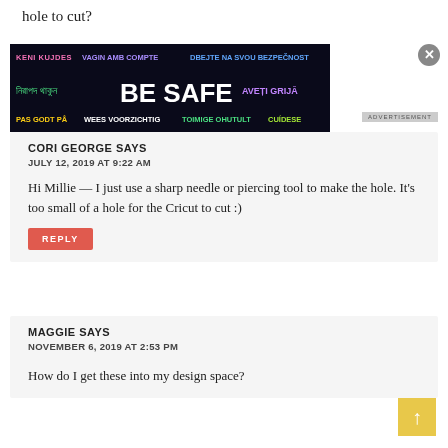hole to cut?
[Figure (other): Advertisement banner with multilingual 'BE SAFE' text on dark background]
CORI GEORGE SAYS
JULY 12, 2019 AT 9:22 AM
Hi Millie — I just use a sharp needle or piercing tool to make the hole. It's too small of a hole for the Cricut to cut :)
REPLY
MAGGIE SAYS
NOVEMBER 6, 2019 AT 2:53 PM
How do I get these into my design space?